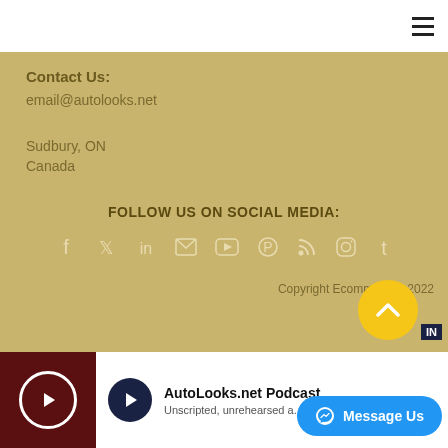☰
Contact Us:
email@autolooks.net
Sudbury, ON
Canada
FOLLOW US ON SOCIAL MEDIA:
[Figure (infographic): Row of 9 social media icons: Facebook, Twitter, LinkedIn, Email, YouTube, Pinterest, RSS, Instagram, Tumblr]
Copyright Ecomm 2004-2022
[Figure (infographic): AutoLooks.net podcast thumbnail with play button, dark red background]
AutoLooks.net Podcast
Unscripted, unrehearsed a... the A
[Figure (infographic): Yellow circular scroll-to-top button with up arrow]
[Figure (infographic): Facebook Messenger 'Message Us' blue button overlay]